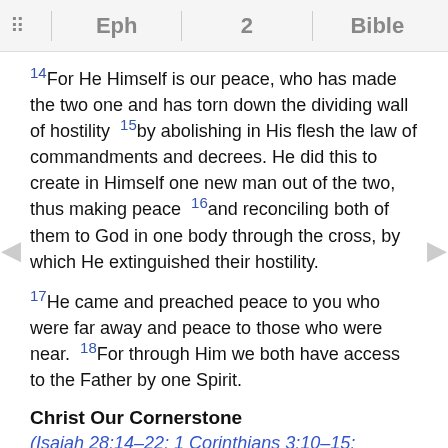Eph 2 Bible
14For He Himself is our peace, who has made the two one and has torn down the dividing wall of hostility 15by abolishing in His flesh the law of commandments and decrees. He did this to create in Himself one new man out of the two, thus making peace 16and reconciling both of them to God in one body through the cross, by which He extinguished their hostility.
17He came and preached peace to you who were far away and peace to those who were near. 18For through Him we both have access to the Father by one Spirit.
Christ Our Cornerstone
(Isaiah 28:14–22; 1 Corinthians 3:10–15; 1 Peter 2:1–8)